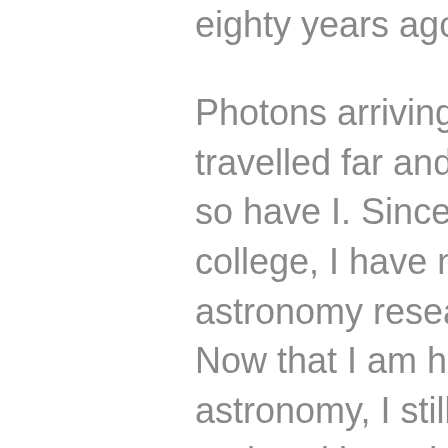eighty years ago.
Photons arriving at the telescope have travelled far and long, and in some ways, so have I. Since my first observing trip in college, I have never doubted that astronomy research was my passion. Now that I am halfway through a Ph.D. in astronomy, I still see observing as a rare and exciting privilege to learn about the cosmos. Along the way, I got to use some of the world's largest